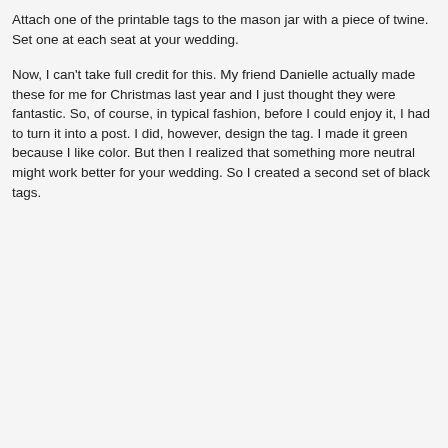Attach one of the printable tags to the mason jar with a piece of twine. Set one at each seat at your wedding.
Now, I can't take full credit for this. My friend Danielle actually made these for me for Christmas last year and I just thought they were fantastic. So, of course, in typical fashion, before I could enjoy it, I had to turn it into a post. I did, however, design the tag. I made it green because I like color. But then I realized that something more neutral might work better for your wedding. So I created a second set of black tags.